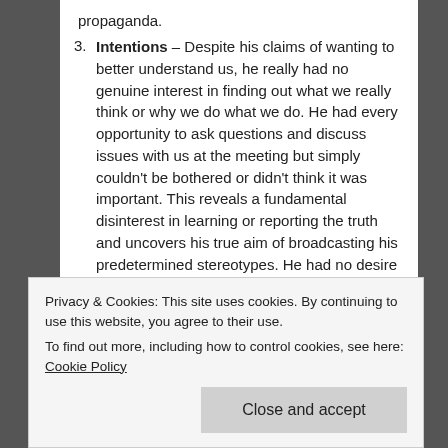propaganda.
Intentions – Despite his claims of wanting to better understand us, he really had no genuine interest in finding out what we really think or why we do what we do. He had every opportunity to ask questions and discuss issues with us at the meeting but simply couldn't be bothered or didn't think it was important. This reveals a fundamental disinterest in learning or reporting the truth and uncovers his true aim of broadcasting his predetermined stereotypes. He had no desire to discover and report the facts – his goal from the very start was merely to air his preconceived opinions on the MHRM.
Privacy & Cookies: This site uses cookies. By continuing to use this website, you agree to their use.
To find out more, including how to control cookies, see here: Cookie Policy
rights activists.